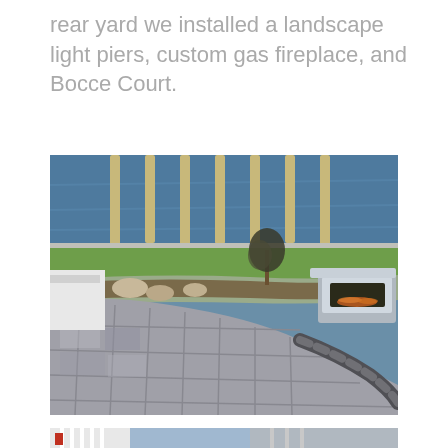rear yard we installed a landscape light piers, custom gas fireplace, and Bocce Court.
[Figure (photo): Aerial view of a paved patio area with large gray stone pavers in a curved pattern, a raised planter bed with a small tree and decorative rocks, a custom gas fireplace insert on the right, and a waterway with wooden dock pilings in the background bordered by green lawn.]
[Figure (photo): Partial view of a home exterior with white railings, a person in red visible on the left, and neighboring houses visible in the background.]